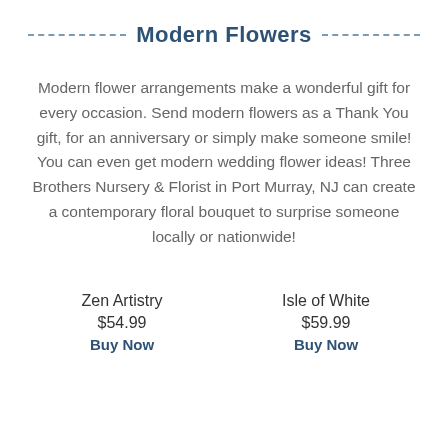Modern Flowers
Modern flower arrangements make a wonderful gift for every occasion. Send modern flowers as a Thank You gift, for an anniversary or simply make someone smile! You can even get modern wedding flower ideas! Three Brothers Nursery & Florist in Port Murray, NJ can create a contemporary floral bouquet to surprise someone locally or nationwide!
Zen Artistry
$54.99
Buy Now
Isle of White
$59.99
Buy Now